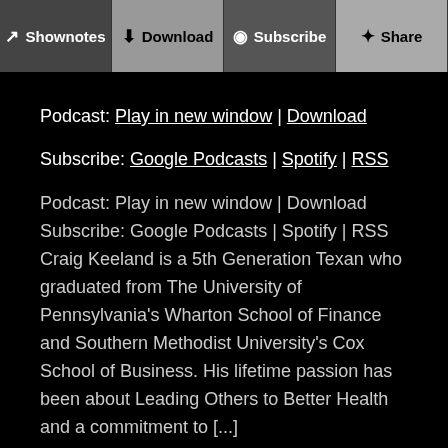[Figure (screenshot): Toolbar with four buttons: Shownotes, Download, Subscribe, Share]
Podcast: Play in new window | Download
Subscribe: Google Podcasts | Spotify | RSS
Podcast: Play in new window | Download Subscribe: Google Podcasts | Spotify | RSS Craig Keeland is a 5th Generation Texan who graduated from The University of Pennsylvania's Wharton School of Finance and Southern Methodist University's Cox School of Business. His lifetime passion has been about Leading Others to Better Health and a commitment to [...]